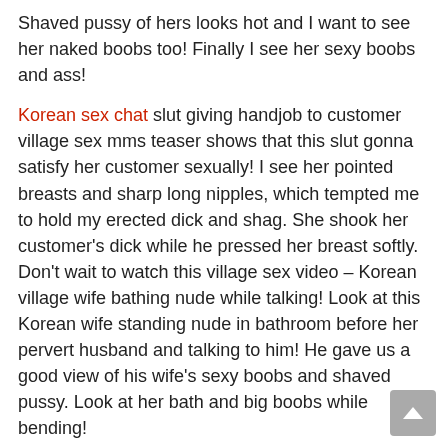Shaved pussy of hers looks hot and I want to see her naked boobs too! Finally I see her sexy boobs and ass!
Korean sex chat slut giving handjob to customer village sex mms teaser shows that this slut gonna satisfy her customer sexually! I see her pointed breasts and sharp long nipples, which tempted me to hold my erected dick and shag. She shook her customer's dick while he pressed her breast softly. Don't wait to watch this village sex video – Korean village wife bathing nude while talking! Look at this Korean wife standing nude in bathroom before her pervert husband and talking to him! He gave us a good view of his wife's sexy boobs and shaved pussy. Look at her bath and big boobs while bending!
Horny Korean live sex village cute girl playing with her boobs on cam in this village sex video might have pleased her lover! I felt pleased in seeing her naked big boobs and also her fucking hairy pussy. She pressed her